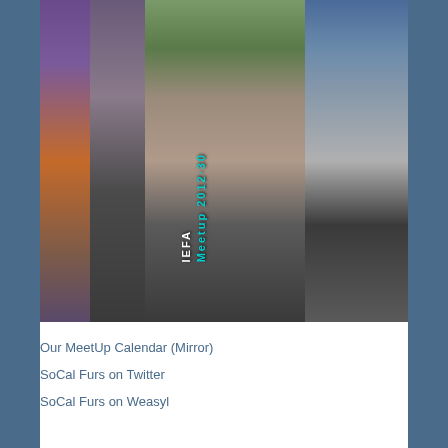[Figure (photo): Collage photo of fursuit costumes at IEFA Meetup 2012-30. Multiple fursuit characters including what appears to be a hyena and wolf/husky type costumes. Text 'IEFA Meetup 2012-30' is overlaid vertically on the image in white and cyan text.]
Our MeetUp Calendar (Mirror)
SoCal Furs on Twitter
SoCal Furs on Weasyl